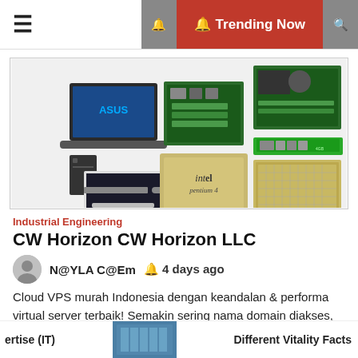≡   🔔 Trending Now 🔍
[Figure (photo): Collage of computer hardware: ASUS laptop, motherboard, RAM stick, desktop PC with monitor, Intel Pentium 4 processor chip, CPU chip]
Industrial Engineering
CW Horizon CW Horizon LLC
N@YLA C@Em  🔔 4 days ago
Cloud VPS murah Indonesia dengan keandalan & performa virtual server terbaik! Semakin sering nama domain diakses,
ertise (IT)   [building image]   Different Vitality Facts